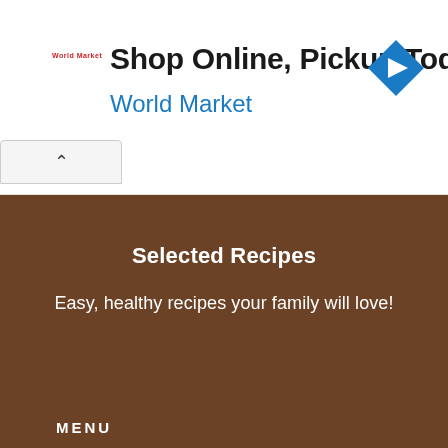[Figure (screenshot): Advertisement banner for World Market showing 'Shop Online, Pickup Today' headline with World Market logo, blue navigation arrow icon, and ad controls (play and close icons). A collapse button with an upward chevron is at the bottom left of the ad.]
Selected Recipes
Easy, healthy recipes your family will love!
MENU